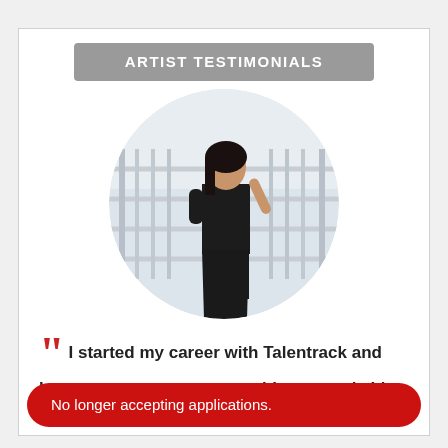ARTIST TESTIMONIALS
[Figure (photo): Circular photo of a woman in a black dress posing against a railing/fence background]
I started my career with Talentrack and have got so many opportunities to work. It's awesome to be on
No longer accepting applications.